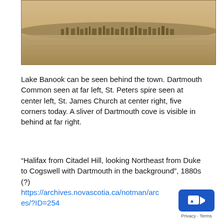[Figure (photo): Sepia-toned panoramic historical photograph showing a wide view of Dartmouth/Halifax from across the water, with the town visible in the distance and water in the foreground.]
Lake Banook can be seen behind the town. Dartmouth Common seen at far left, St. Peters spire seen at center left, St. James Church at center right, five corners today. A sliver of Dartmouth cove is visible in behind at far right.
“Halifax from Citadel Hill, looking Northeast from Duke to Cogswell with Dartmouth in the background”, 1880s (?) https://archives.novascotia.ca/notman/archives/?ID=254